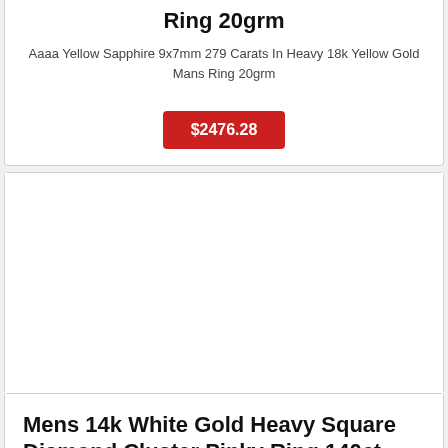Ring 20grm
Aaaa Yellow Sapphire 9x7mm 279 Carats In Heavy 18k Yellow Gold Mans Ring 20grm
$2476.28
[Figure (photo): Product image placeholder area (empty)]
Mens 14k White Gold Heavy Square Diamond Cluster Pinky Ring 140ct